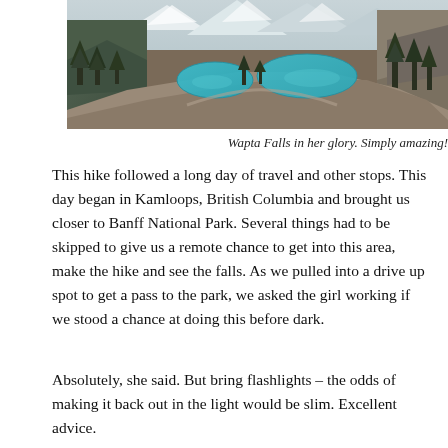[Figure (photo): Aerial view of Wapta Falls surrounded by pine trees and mountains, with two turquoise glacial lakes visible in a rocky mountain basin.]
Wapta Falls in her glory. Simply amazing!
This hike followed a long day of travel and other stops. This day began in Kamloops, British Columbia and brought us closer to Banff National Park. Several things had to be skipped to give us a remote chance to get into this area, make the hike and see the falls. As we pulled into a drive up spot to get a pass to the park, we asked the girl working if we stood a chance at doing this before dark.
Absolutely, she said. But bring flashlights – the odds of making it back out in the light would be slim. Excellent advice.